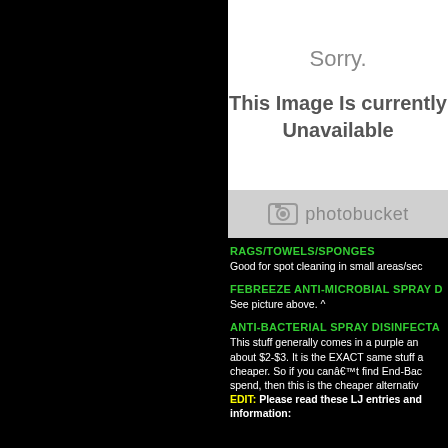[Figure (screenshot): Photobucket unavailable image placeholder showing 'Sorry. This Image Is currently Unavailable' with Photobucket logo bar below]
RAGS/TOWELS/SPONGES
Good for spot cleaning in small areas/sec
FEBREEZE ANTI-MICROBIAL SPRAY D
See picture above. ^
ANTI-BACTERIAL SPRAY DISINFECTA
This stuff generally comes in a purple and about $2-$3. It is the EXACT same stuff a cheaper. So if you canâ€™t find End-Bac spend, then this is the cheaper alternative EDIT: Please read these LJ entries and information: